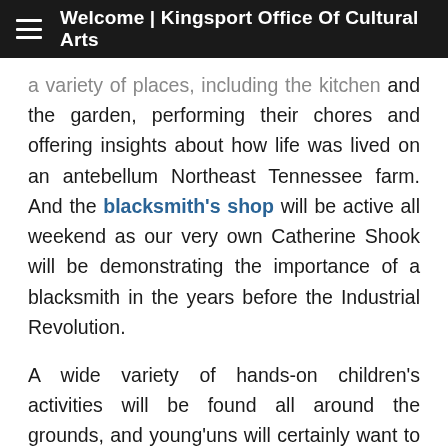Welcome | Kingsport Office Of Cultural Arts
a variety of places, including the kitchen and the garden, performing their chores and offering insights about how life was lived on an antebellum Northeast Tennessee farm. And the blacksmith's shop will be active all weekend as our very own Catherine Shook will be demonstrating the importance of a blacksmith in the years before the Industrial Revolution.
A wide variety of hands-on children's activities will be found all around the grounds, and young'uns will certainly want to say hello to our resident animals,